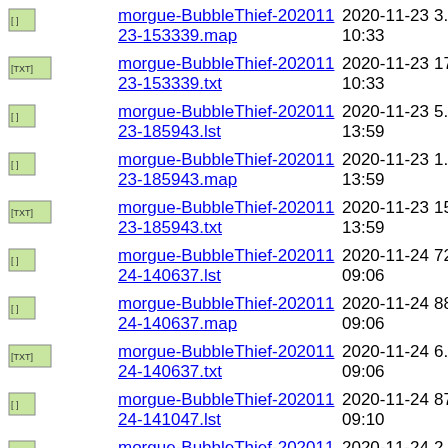[ ] morgue-BubbleThief-20201123-153339.map 2020-11-23 10:33 3.9K
[TXT] morgue-BubbleThief-20201123-153339.txt 2020-11-23 10:33 17K
[ ] morgue-BubbleThief-20201123-185943.lst 2020-11-23 13:59 5.4K
[ ] morgue-BubbleThief-20201123-185943.map 2020-11-23 13:59 1.1K
[TXT] morgue-BubbleThief-20201123-185943.txt 2020-11-23 13:59 15K
[ ] morgue-BubbleThief-20201124-140637.lst 2020-11-24 09:06 721
[ ] morgue-BubbleThief-20201124-140637.map 2020-11-24 09:06 888
[TXT] morgue-BubbleThief-20201124-140637.txt 2020-11-24 09:06 6.6K
[ ] morgue-BubbleThief-20201124-141047.lst 2020-11-24 09:10 870
[ ] morgue-BubbleThief-20201124- 2020-11-24 09:10 2.0K